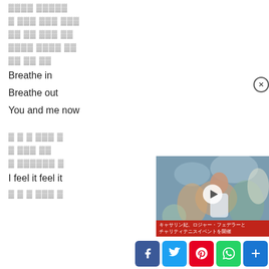[redacted] [redacted]
[redacted] [redacted] [redacted] [redacted]
[redacted] [redacted] [redacted] [redacted]
[redacted] [redacted] [redacted]
[redacted] [redacted] [redacted]
Breathe in
Breathe out
You and me now
[redacted] [redacted] [redacted] [redacted] [redacted]
[redacted] [redacted] [redacted]
[redacted] [redacted] [redacted] [redacted]
I feel it feel it
[redacted] [redacted] [redacted] [redacted] [redacted]
[Figure (screenshot): Video popup showing a woman at a tennis event with Japanese caption text: キャサリン妃、ロジャー・フェデラーとチャリティテニスイベントを開催, with play button overlay and close button]
[Figure (infographic): Social share bar with Facebook, Twitter, Pinterest, WhatsApp, and More (+) buttons]